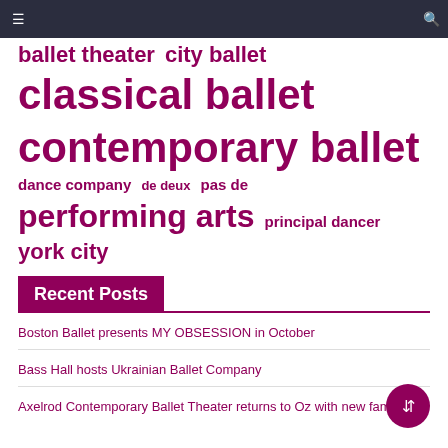navigation bar
ballet theater  city ballet  classical ballet  contemporary ballet  dance company  de deux  pas de  performing arts  principal dancer  york city
Recent Posts
Boston Ballet presents MY OBSESSION in October
Bass Hall hosts Ukrainian Ballet Company
Axelrod Contemporary Ballet Theater returns to Oz with new family